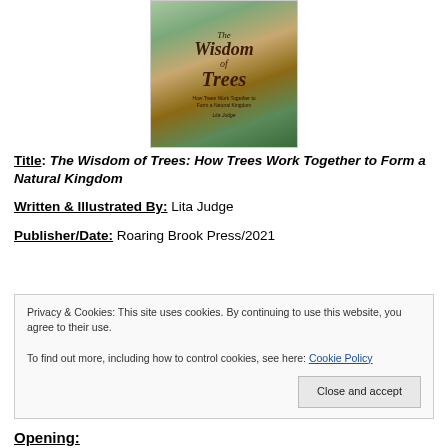[Figure (illustration): Book cover of 'The Wisdom of Trees: How Trees Work Together to Form a Natural Kingdom' by Lita Judge, showing illustrated trees with colorful birds]
Title: The Wisdom of Trees: How Trees Work Together to Form a Natural Kingdom
Written & Illustrated By: Lita Judge
Publisher/Date: Roaring Brook Press/2021
Privacy & Cookies: This site uses cookies. By continuing to use this website, you agree to their use. To find out more, including how to control cookies, see here: Cookie Policy
Opening: